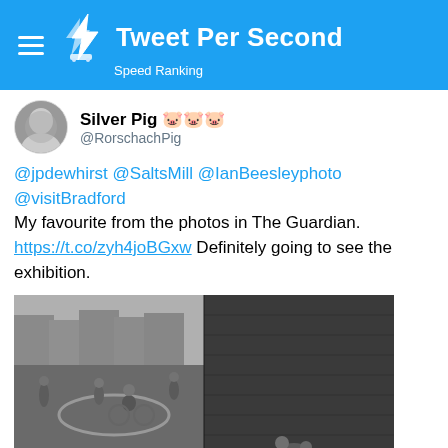Tweet Per Second — Speed Ranking
Silver Pig 🐷🐷🐷
@RorschachPig
@jpdewhirst @SaltsMill @IanBeesleyphoto @visitBradford My favourite from the photos in The Guardian. https://t.co/zyh4joBGxw Definitely going to see the exhibition.
[Figure (photo): Black and white photograph of children playing on a street, some on bicycles, near a brick wall and terrace houses.]